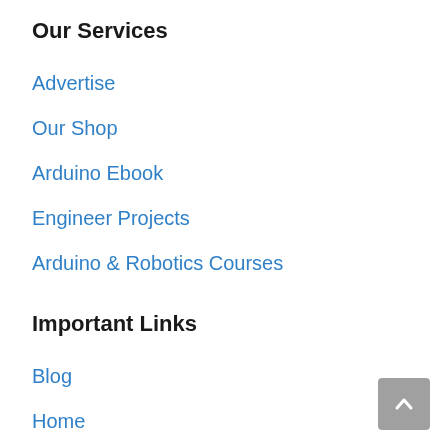Our Services
Advertise
Our Shop
Arduino Ebook
Engineer Projects
Arduino & Robotics Courses
Important Links
Blog
Home
About Us